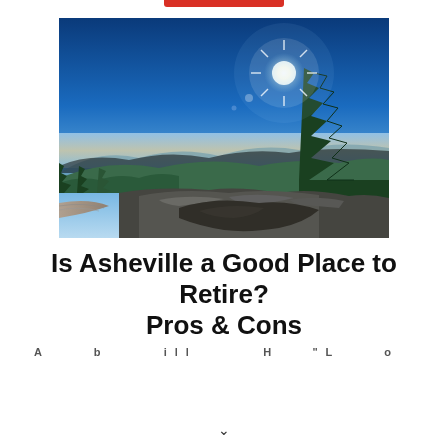[Figure (photo): Mountain landscape photo showing a rocky trail in the foreground, evergreen trees on the right, distant blue mountain ridges, and a bright sunburst in a deep blue sky.]
Is Asheville a Good Place to Retire? Pros & Cons
Asheville hillside landscape with mountain views